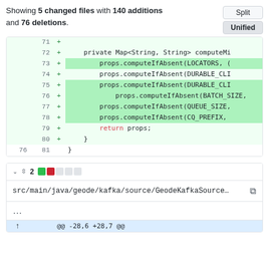Showing 5 changed files with 140 additions and 76 deletions.
[Figure (screenshot): GitHub diff view showing code additions (lines 71-81) with green highlighting. Lines 71-80 are new additions marked with +. Code shows private Map method with props.computeIfAbsent calls for LOCATORS, DURABLE_CLIENT, BATCH_SIZE, QUEUE_SIZE, CQ_PREFIX, and return props statement.]
[Figure (screenshot): GitHub file header showing src/main/java/geode/kafka/source/GeodeKafkaSource... with collapse chevron, diff stats showing 2 changes with green and red squares, copy icon, ellipsis menu, and hunk header @@ -28,6 +28,7 @@]